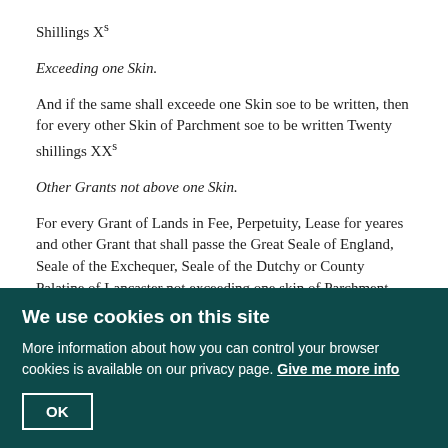Shillings XIs
Exceeding one Skin.
And if the same shall exceede one Skin soe to be written, then for every other Skin of Parchment soe to be written Twenty shillings XXs
Other Grants not above one Skin.
For every Grant of Lands in Fee, Perpetuity, Lease for yeares and other Grant that shall passe the Great Seale of England, Seale of the Exchequer, Seale of the Dutchy or County Palatine of Lancaster not exceeding one skin of Parchment written in such manner as things of that nature are now, or heretofore have beene usually written Twenty shillings XXs
Exceeding one Skin.
And if the same shall exceede one Skin soe to be written, then for every other Skin of Parchment soe to be written Ten Shillings Xl
Grants of Money or Pardons not above one Skin.
For every Grant of any Summe of Money, and for every Pardon of or for any
We use cookies on this site
More information about how you can control your browser cookies is available on our privacy page. Give me more info
OK